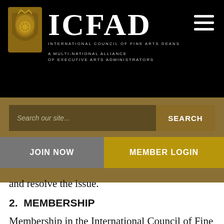[Figure (logo): ICFAD logo with gold heraldic crest and text: ICFAD, INTERNATIONAL COUNCIL OF FINE ARTS DEANS, A MULTI-NATIONAL ALLIANCE OF EXECUTIVE ARTS ADMINISTRATORS]
Search our site...
SEARCH
JOIN NOW
MEMBER LOGIN
and resolve the issue.
2.  MEMBERSHIP
Membership in the International Council of Fine Arts Deans will be open to post-secondary institutions that foster the practice and/or study